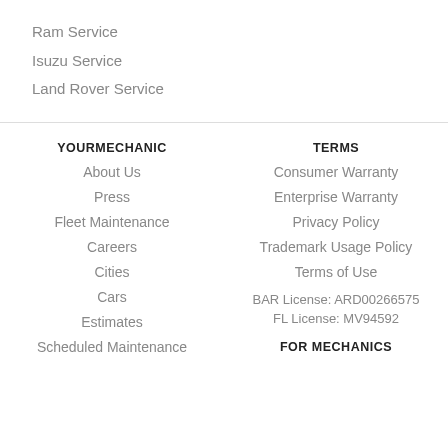Ram Service
Isuzu Service
Land Rover Service
YOURMECHANIC
About Us
Press
Fleet Maintenance
Careers
Cities
Cars
Estimates
Scheduled Maintenance
TERMS
Consumer Warranty
Enterprise Warranty
Privacy Policy
Trademark Usage Policy
Terms of Use
BAR License: ARD00266575
FL License: MV94592